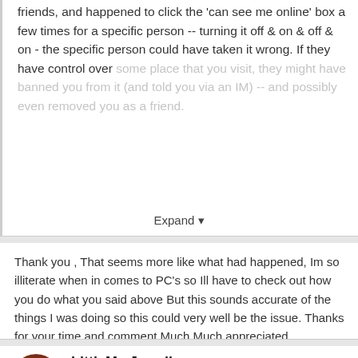friends, and happened to click the 'can see me online' box a few times for a specific person -- turning it off & on & off & on - the specific person could have taken it wrong.  If they have control over some place that you visit, they might have banned you from it (and told you via an IM) -- and possibly even removed you as a friend.
Expand
Thank you , That seems more like what had happened, Im so illiterate when in comes to PC's so Ill have to check out how you do what you said above But this sounds accurate of the things I was doing so this could very well be the issue. Thanks for your time and comment Much Much appreciated
LittleMe Jewell
Posted February 23, 2019
On 2/23/2019 at 11:17 PM, Syn Anatine said: